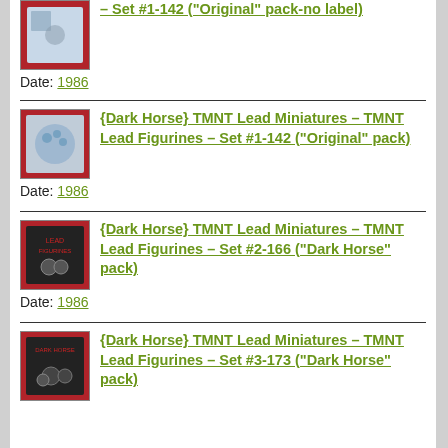– Set #1-142 ("Original" pack-no label)
Date: 1986
{Dark Horse} TMNT Lead Miniatures – TMNT Lead Figurines – Set #1-142 ("Original" pack)
Date: 1986
{Dark Horse} TMNT Lead Miniatures – TMNT Lead Figurines – Set #2-166 ("Dark Horse" pack)
Date: 1986
{Dark Horse} TMNT Lead Miniatures – TMNT Lead Figurines – Set #3-173 ("Dark Horse" pack)